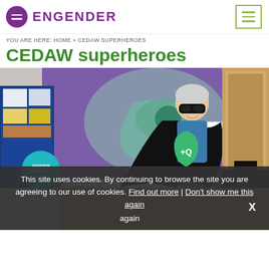ENGENDER
YOU ARE HERE: HOME » CEDAW SUPERHEROES
CEDAW superheroes
[Figure (photo): Person wearing a black superhero cape and eye mask, holding the cape open, standing in front of a CEDAW display booth with a 'Gender Matters' sign and a CEDAW 'Bill of Human Rights Just for Women' poster.]
This site uses cookies. By continuing to browse the site you are agreeing to our use of cookies. Find out more | Don't show me this again